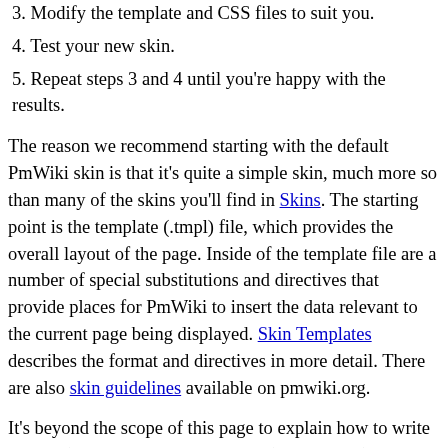3. Modify the template and CSS files to suit you.
4. Test your new skin.
5. Repeat steps 3 and 4 until you're happy with the results.
The reason we recommend starting with the default PmWiki skin is that it's quite a simple skin, much more so than many of the skins you'll find in Skins. The starting point is the template (.tmpl) file, which provides the overall layout of the page. Inside of the template file are a number of special substitutions and directives that provide places for PmWiki to insert the data relevant to the current page being displayed. Skin Templates describes the format and directives in more detail. There are also skin guidelines available on pmwiki.org.
It's beyond the scope of this page to explain how to write HTML (hypertext markup language), XHTML (extensible HTML, which is a bit newer) or CSS (cascading style sheets), but there are many good tutorials on the web for all three of them. One caution: if you